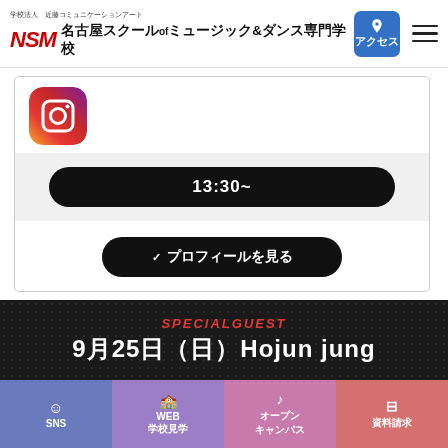学校法人 近藤コミュニケーションアート 名古屋スクールofミュージック&ダンス専門学校
[Figure (logo): Instagram icon/logo - gradient pink-orange-yellow rounded square]
13:30~
✓ プロフィールを見る
[Figure (infographic): Special guest banner: SPECIALGUEST 9月25日（日）Hojun jung on dark dotted background]
SNS　WEB 学校見学　オープンキャンパス　資料請求